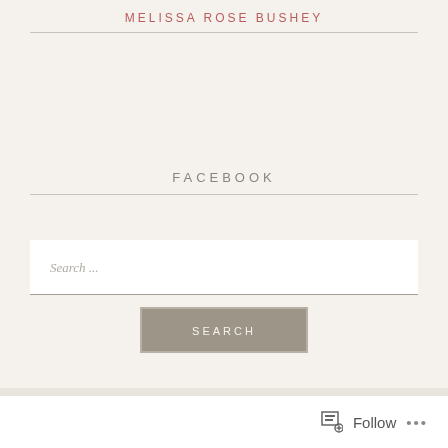MELISSA ROSE BUSHEY
FACEBOOK
Search ...
SEARCH
Follow